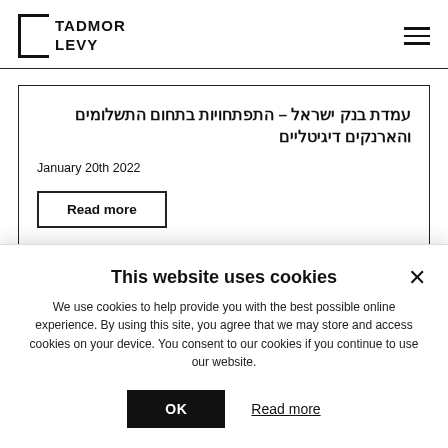TADMOR LEVY
עמדת בנק ישראל – התפתחויות בתחום התשלומים והארנקים דיגיטליים
January 20th 2022
Read more
This website uses cookies
We use cookies to help provide you with the best possible online experience. By using this site, you agree that we may store and access cookies on your device. You consent to our cookies if you continue to use our website.
OK
Read more